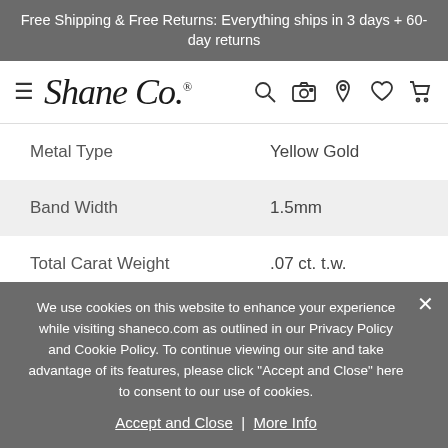Free Shipping & Free Returns: Everything ships in 3 days + 60-day returns
[Figure (logo): Shane Co. logo with hamburger menu and navigation icons (search, camera, location, wishlist, cart)]
| Property | Value |
| --- | --- |
| Metal Type | Yellow Gold |
| Band Width | 1.5mm |
| Total Carat Weight | .07 ct. t.w. |
We use cookies on this website to enhance your experience while visiting shaneco.com as outlined in our Privacy Policy and Cookie Policy. To continue viewing our site and take advantage of its features, please click "Accept and Close" here to consent to our use of cookies.
Accept and Close | More Info